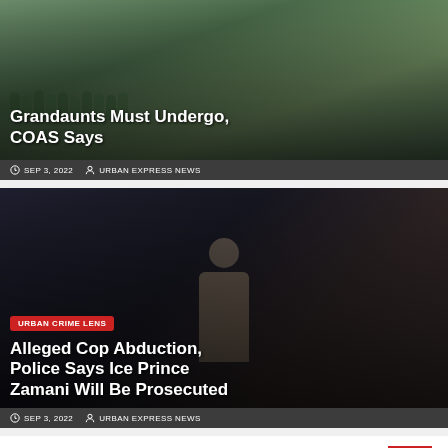[Figure (photo): News article card with image overlay showing headline about grandaunts and COAS]
Grandaunts Must Undergo, COAS Says
SEP 3, 2022   URBAN EXPRESS NEWS
[Figure (photo): News article card with image of Ice Prince Zamani (man wearing cap and sunglasses) with red badge overlay]
Alleged Cop Abduction, Police Says Ice Prince Zamani Will Be Prosecuted
SEP 3, 2022   URBAN EXPRESS NEWS
Leave a Reply